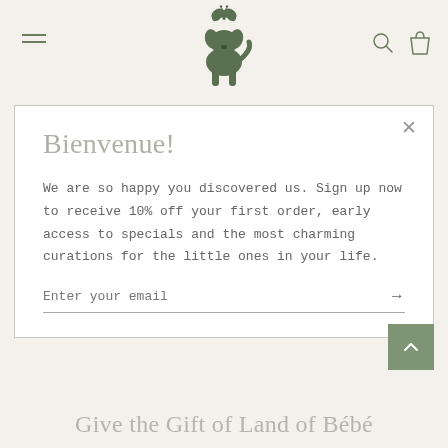[Figure (logo): Land of Bébé logo: stylized dog/puppy with butterfly, dark green color, centered at top of page]
Bienvenue!
We are so happy you discovered us. Sign up now to receive 10% off your first order, early access to specials and the most charming curations for the little ones in your life.
Enter your email
Give the Gift of Land of Bébé